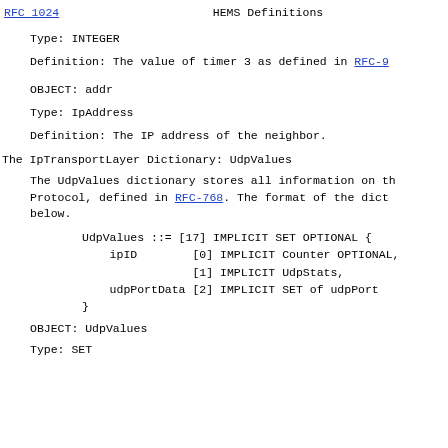RFC 1024    HEMS Definitions
Type:  INTEGER
Definition:  The value of timer 3 as defined in RFC-9
OBJECT:  addr
Type:  IpAddress
Definition:  The IP address of the neighbor.
The IpTransportLayer Dictionary: UdpValues
The UdpValues dictionary stores all information on the User Datagram Protocol, defined in RFC-768.  The format of the dictionary is shown below.
UdpValues ::= [17] IMPLICIT SET OPTIONAL {
    ipID        [0] IMPLICIT Counter OPTIONAL,
                [1] IMPLICIT UdpStats,
    udpPortData [2] IMPLICIT SET of udpPort
}
OBJECT:  UdpValues
Type:  SET